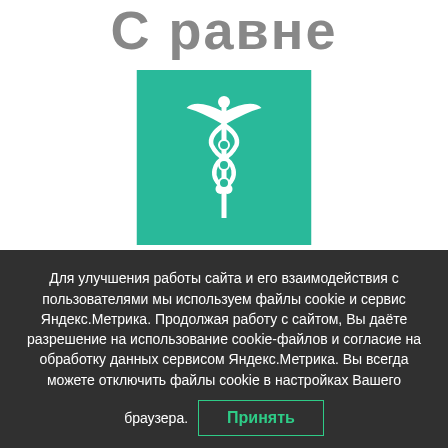[Figure (logo): Partial logo text in grey, large bold letters, cropped at top]
[Figure (illustration): Teal square icon with white caduceus medical symbol]
Для улучшения работы сайта и его взаимодействия с пользователями мы используем файлы cookie и сервис Яндекс.Метрика. Продолжая работу с сайтом, Вы даёте разрешение на использование cookie-файлов и согласие на обработку данных сервисом Яндекс.Метрика. Вы всегда можете отключить файлы cookie в настройках Вашего браузера.
Принять